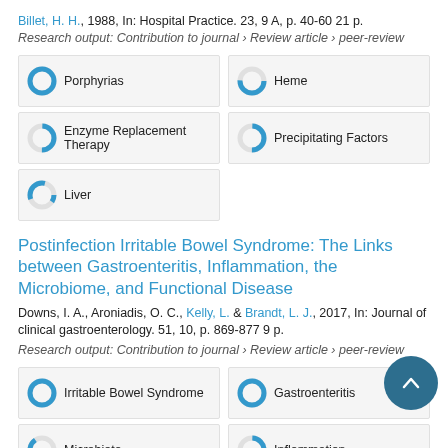Billet, H. H., 1988, In: Hospital Practice. 23, 9 A, p. 40-60 21 p.
Research output: Contribution to journal › Review article › peer-review
[Figure (infographic): Keyword badges with donut chart icons: Porphyrias (100%), Heme (75%), Enzyme Replacement Therapy (50%), Precipitating Factors (50%), Liver (35%)]
Postinfection Irritable Bowel Syndrome: The Links between Gastroenteritis, Inflammation, the Microbiome, and Functional Disease
Downs, I. A., Aroniadis, O. C., Kelly, L. & Brandt, L. J., 2017, In: Journal of clinical gastroenterology. 51, 10, p. 869-877 9 p.
Research output: Contribution to journal › Review article › peer-review
[Figure (infographic): Keyword badges with donut chart icons: Irritable Bowel Syndrome (100%), Gastroenteritis (100%), Microbiota (90%), Inflammation (50%), Bacteroidetes (partial, cropped)]